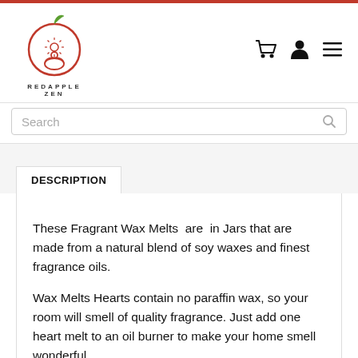[Figure (logo): Red Apple Zen logo: a red apple outline with a green leaf on top, a meditating figure inside with a sunburst, and the text REDAPPLE ZEN below in spaced capitals]
[Figure (illustration): Navigation icons: shopping cart, user/person icon, and hamburger menu (three horizontal lines)]
Search
DESCRIPTION
These Fragrant Wax Melts  are  in Jars that are made from a natural blend of soy waxes and finest fragrance oils.
Wax Melts Hearts contain no paraffin wax, so your room will smell of quality fragrance. Just add one heart melt to an oil burner to make your home smell wonderful.